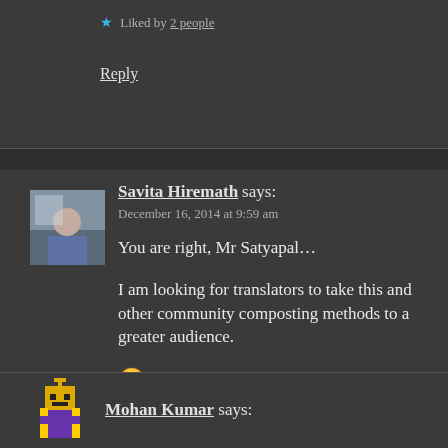★ Liked by 2 people
Reply
Savita Hiremath says:
December 16, 2014 at 9:59 am
You are right, Mr Satyapal…

I am looking for translators to take this and other community composting methods to a greater audience.

🙂
★ Like
Reply
Mohan Kumar says: